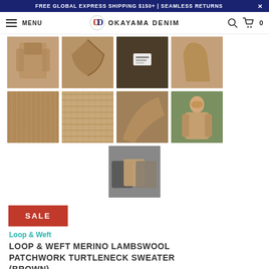FREE GLOBAL EXPRESS SHIPPING $150+ | SEAMLESS RETURNS
MENU | OKAYAMA DENIM
[Figure (photo): Grid of 9 product thumbnail photos of a brown turtleneck sweater showing various angles and details: full front, collar, label, side, texture close-ups, sleeve, and model wearing it; plus a final image showing multiple color options folded.]
SALE
Loop & Weft
LOOP & WEFT MERINO LAMBSWOOL PATCHWORK TURTLENECK SWEATER (BROWN)